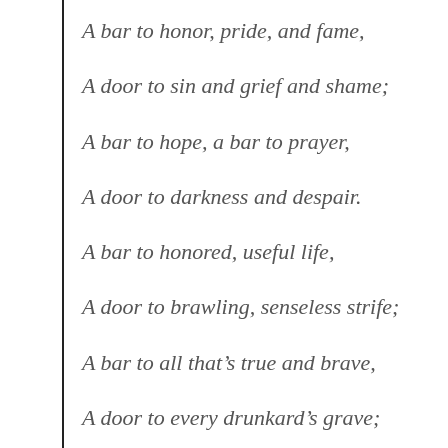A bar to honor, pride, and fame,
A door to sin and grief and shame;
A bar to hope, a bar to prayer,
A door to darkness and despair.
A bar to honored, useful life,
A door to brawling, senseless strife;
A bar to all that's true and brave,
A door to every drunkard's grave;